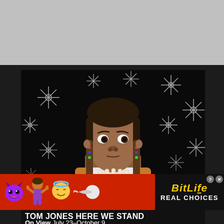[Figure (photo): Exhibit advertisement for 'Tom Jones: Here We Stand' showing a young Indigenous child with braids and traditional regalia (bone breastplate, colorful accessories, orange top) against a dark background covered in white snowflake/star outlines.]
TOM JONES HERE WE STAND
On View July 23–October 9
[Figure (illustration): BitLife mobile game advertisement banner on red background featuring devil emoji, person shrugging emoji, angel emoji, sperm emoji, and BitLife logo in yellow italic text with 'REAL CHOICES' in white bold text on black background.]